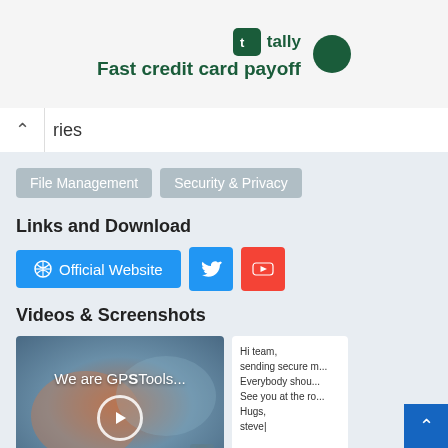[Figure (screenshot): Tally app advertisement banner showing logo and tagline 'Fast credit card payoff']
ries
File Management
Security & Privacy
Links and Download
[Figure (screenshot): Buttons row: Official Website (blue), Twitter (blue), YouTube (red)]
Videos & Screenshots
[Figure (screenshot): Video thumbnail showing 'We are GPSTools...' with play button overlay, plus a screenshot card showing email text: 'Hi team, sending secure, Everybody shou, See you at the r, Hugs, steve|' and a scroll-to-top blue button]